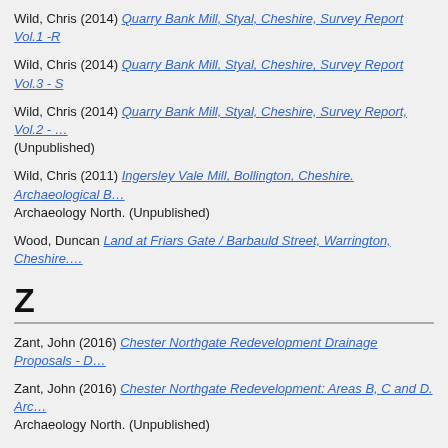Wild, Chris (2014) Quarry Bank Mill, Styal, Cheshire, Survey Report Vol.1 -R…
Wild, Chris (2014) Quarry Bank Mill, Styal, Cheshire, Survey Report Vol.3 - S…
Wild, Chris (2014) Quarry Bank Mill, Styal, Cheshire, Survey Report, Vol.2 - … (Unpublished)
Wild, Chris (2011) Ingersley Vale Mill, Bollington, Cheshire. Archaeological B… Archaeology North. (Unpublished)
Wood, Duncan Land at Friars Gate / Barbauld Street, Warrington, Cheshire.…
Z
Zant, John (2016) Chester Northgate Redevelopment Drainage Proposals - D…
Zant, John (2016) Chester Northgate Redevelopment: Areas B, C and D. Arc… Archaeology North. (Unpublished)
This list wa…
OA Library is provided by Oxford Archaeology and powered by EPrints 3 which is developed by the School of Electronics and Computer Science at the University of Southampton. More information and software credits. Unless otherwise indicated, all material is provided under a Creative Commons Attribution-Share Alike 3.0 license.